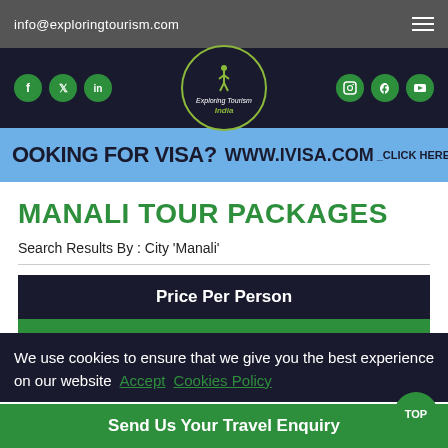info@exploringtourism.com
[Figure (logo): Exploring Tourism India logo — circle with hiker figure, green text]
[Figure (infographic): Blue banner reading: LOOKING FOR VISA? WWW.IVISA.COM _CLICK HERE]
MANALI TOUR PACKAGES
Search Results By : City 'Manali'
| Price Per Person |
| Price on Request |
We use cookies to ensure that we give you the best experience on our website  Accept   Cookies Policy
Send Us Your Travel Enquiry